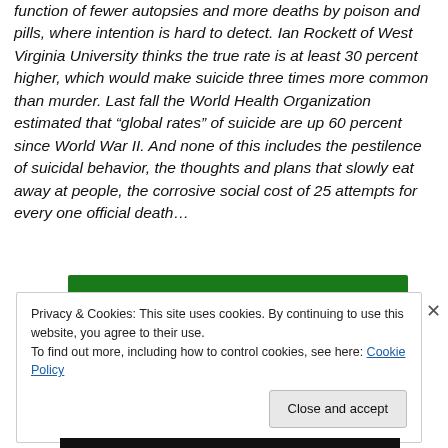function of fewer autopsies and more deaths by poison and pills, where intention is hard to detect. Ian Rockett of West Virginia University thinks the true rate is at least 30 percent higher, which would make suicide three times more common than murder. Last fall the World Health Organization estimated that “global rates” of suicide are up 60 percent since World War II. And none of this includes the pestilence of suicidal behavior, the thoughts and plans that slowly eat away at people, the corrosive social cost of 25 attempts for every one official death…
[Figure (other): Green navigation bar from a website]
Privacy & Cookies: This site uses cookies. By continuing to use this website, you agree to their use.
To find out more, including how to control cookies, see here: Cookie Policy